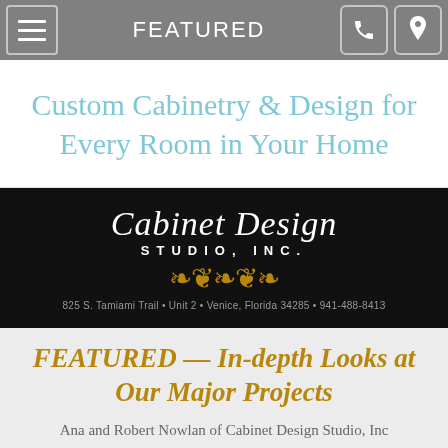FEATURED
Custom Cabinetry & Design for Every Room in Your Home
[Figure (logo): Cabinet Design Studio, Inc. logo on black background with ornamental flourish. Address: 825 S. Tamiami Trail • Unit 2 • Venice, Florida 34285 • 941-488-8413]
FEATURED — In-depth Looks at Our Major Projects
Ana and Robert Nowlan of Cabinet Design Studio, Inc